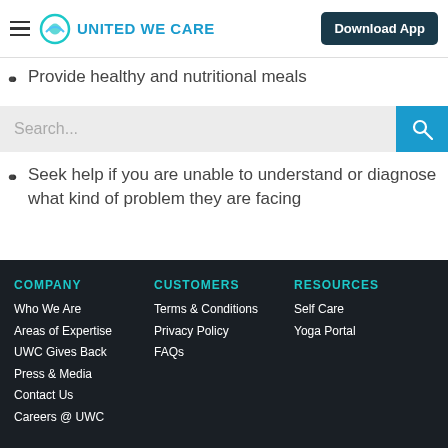United We Care — Download App
Provide healthy and nutritional meals
Seek help if you are unable to understand or diagnose what kind of problem they are facing
COMPANY: Who We Are, Areas of Expertise, UWC Gives Back, Press & Media, Contact Us, Careers @ UWC | CUSTOMERS: Terms & Conditions, Privacy Policy, FAQs | RESOURCES: Self Care, Yoga Portal